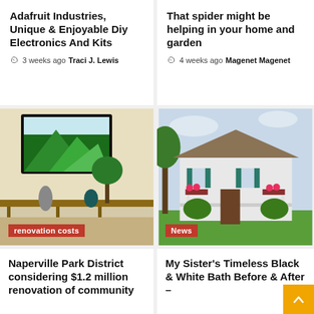Adafruit Industries, Unique & Enjoyable Diy Electronics And Kits
3 weeks ago  Traci J. Lewis
That spider might be helping in your home and garden
4 weeks ago  Magenet Magenet
[Figure (photo): Interior room with a TV mounted on the wall showing green mountain landscape, decorative plants and figurines on a console table. Tag reads 'renovation costs']
[Figure (photo): Exterior of a white two-story house with green shutters, flowers on the porch, and manicured shrubs. Tag reads 'News']
Naperville Park District considering $1.2 million renovation of community
My Sister's Timeless Black & White Bath Before & After –